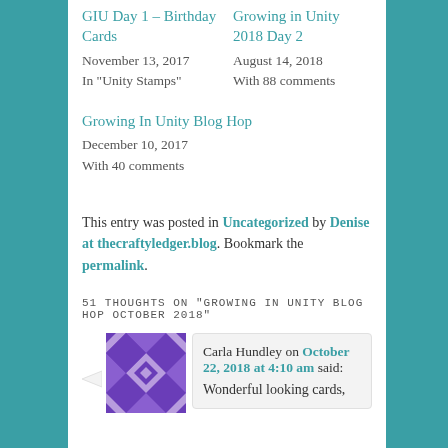GIU Day 1 – Birthday Cards
November 13, 2017
In "Unity Stamps"
Growing in Unity 2018 Day 2
August 14, 2018
With 88 comments
Growing In Unity Blog Hop
December 10, 2017
With 40 comments
This entry was posted in Uncategorized by Denise at thecraftyledger.blog. Bookmark the permalink.
51 THOUGHTS ON "GROWING IN UNITY BLOG HOP OCTOBER 2018"
[Figure (illustration): Purple geometric quilt-pattern avatar icon for commenter Carla Hundley]
Carla Hundley on October 22, 2018 at 4:10 am said:
Wonderful looking cards,